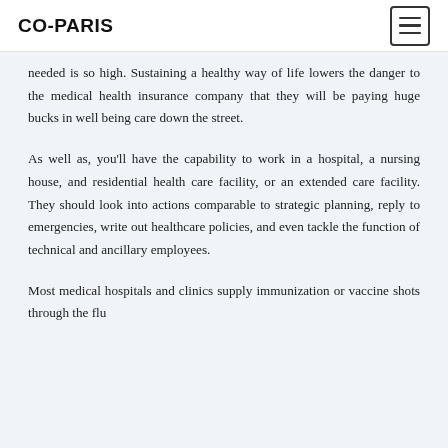CO-PARIS
needed is so high. Sustaining a healthy way of life lowers the danger to the medical health insurance company that they will be paying huge bucks in well being care down the street.
As well as, you'll have the capability to work in a hospital, a nursing house, and residential health care facility, or an extended care facility. They should look into actions comparable to strategic planning, reply to emergencies, write out healthcare policies, and even tackle the function of technical and ancillary employees.
Most medical hospitals and clinics supply immunization or vaccine shots through the flu